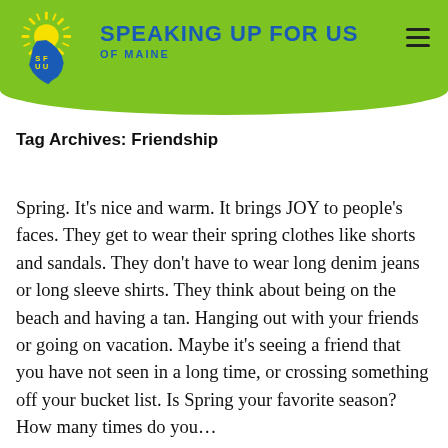SPEAKING UP FOR US OF MAINE
Tag Archives: Friendship
Spring. It’s nice and warm. It brings JOY to people’s faces. They get to wear their spring clothes like shorts and sandals. They don’t have to wear long denim jeans or long sleeve shirts. They think about being on the beach and having a tan. Hanging out with your friends or going on vacation. Maybe it’s seeing a friend that you have not seen in a long time, or crossing something off your bucket list. Is Spring your favorite season? How many times do you…